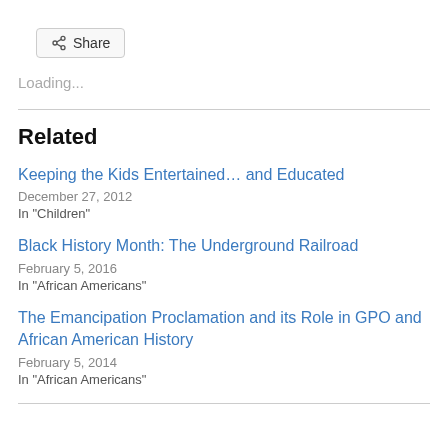[Figure (other): Share button with share icon]
Loading...
Related
Keeping the Kids Entertained… and Educated
December 27, 2012
In "Children"
Black History Month: The Underground Railroad
February 5, 2016
In "African Americans"
The Emancipation Proclamation and its Role in GPO and African American History
February 5, 2014
In "African Americans"